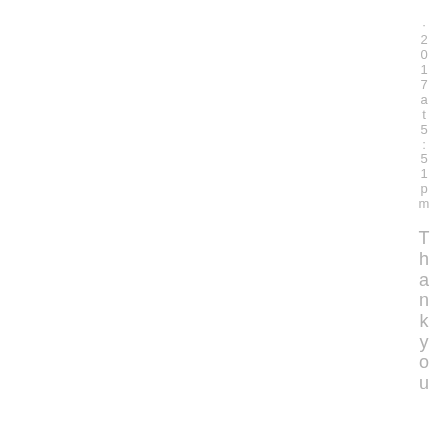· 2017 at 5:51pm  Thank you
Thank you